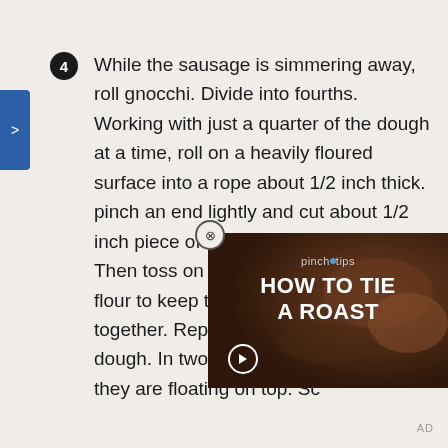While the sausage is simmering away, roll gnocchi. Divide into fourths. Working with just a quarter of the dough at a time, roll on a heavily floured surface into a rope about 1/2 inch thick. pinch an end lightly and cut about 1/2 inch piece of. Repeat with rest of rope. Then toss on a plate or pan coated in flour to keep them from sticking together. Repeat process with rest of dough. In two batches boil gnocchi until they are floating on top. Sc...
[Figure (screenshot): Video overlay showing 'pinch tips HOW TO TIE A ROAST' with a meat/roast image background and a play button]